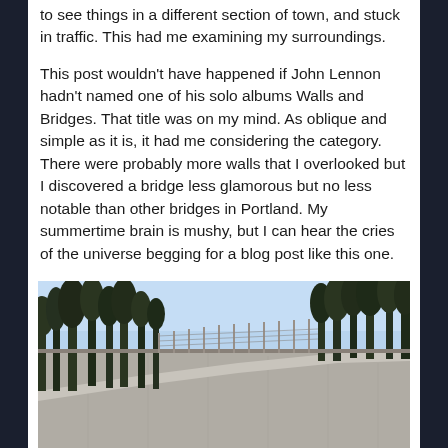to see things in a different section of town, and stuck in traffic. This had me examining my surroundings.
This post wouldn't have happened if John Lennon hadn't named one of his solo albums Walls and Bridges. That title was on my mind. As oblique and simple as it is, it had me considering the category. There were probably more walls that I overlooked but I discovered a bridge less glamorous but no less notable than other bridges in Portland. My summertime brain is mushy, but I can hear the cries of the universe begging for a blog post like this one.
[Figure (photo): Photograph of a large concrete retaining wall or bridge structure with trees visible above it against a blue sky, taken in Portland.]